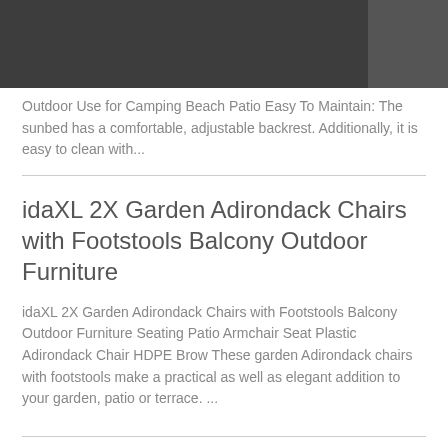Outdoor Use for Camping Beach Patio Easy To Maintain: The sunbed has a comfortable, adjustable backrest. Additionally, it is easy to clean with...
idaXL 2X Garden Adirondack Chairs with Footstools Balcony Outdoor Furniture
idaXL 2X Garden Adirondack Chairs with Footstools Balcony Outdoor Furniture Seating Patio Armchair Seat Plastic Adirondack Chair HDPE Brow These garden Adirondack chairs with footstools make a practical as well as elegant addition to your garden, patio or terrace.  ...
idaXL 2X Garden Adirondack Chairs